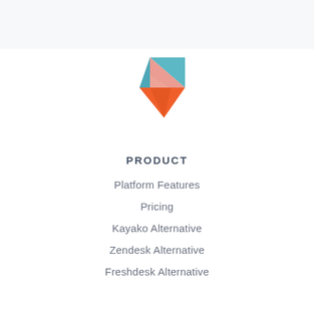[Figure (logo): Colorful geometric logo resembling a stylized letter K made of triangular shapes in teal, salmon/pink, and orange colors]
PRODUCT
Platform Features
Pricing
Kayako Alternative
Zendesk Alternative
Freshdesk Alternative